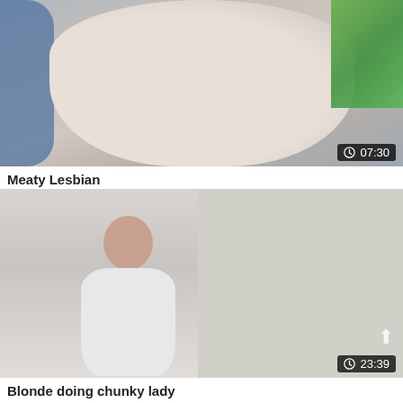[Figure (photo): Video thumbnail showing two people on a bed with blue pillow on left and green bedding on right. Duration badge showing 07:30.]
Meaty Lesbian
[Figure (photo): Video thumbnail showing a woman in a white top standing indoors. Duration badge showing 23:39. Scroll arrow visible.]
Blonde doing chunky lady